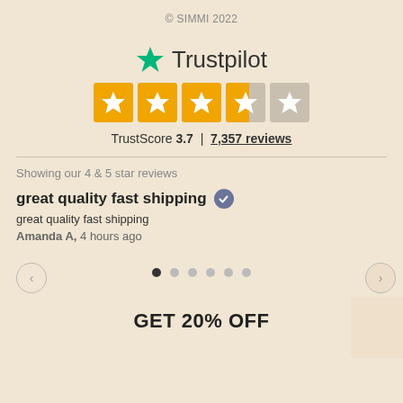© SIMMI 2022
[Figure (logo): Trustpilot logo with green star and text 'Trustpilot']
[Figure (infographic): 5-box star rating showing 3.5 out of 5 stars: 3 full yellow stars, 1 half yellow/gray star, 1 gray star]
TrustScore 3.7 | 7,357 reviews
Showing our 4 & 5 star reviews
great quality fast shipping
great quality fast shipping
Amanda A, 4 hours ago
GET 20% OFF